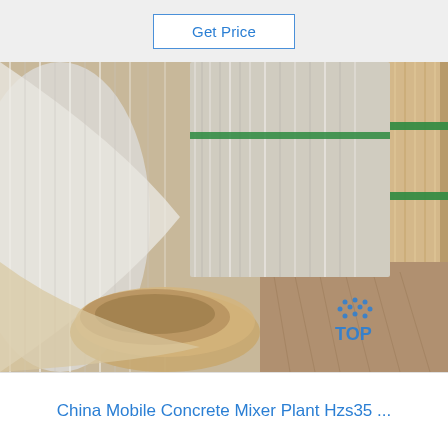Get Price
[Figure (photo): Rolls of aluminum or metallic foil/sheet coiled up, showing brushed metal surface with reflective silver and gold tones; green strapping visible on rolls in background; TOP logo watermark in bottom right corner]
China Mobile Concrete Mixer Plant Hzs35 ...